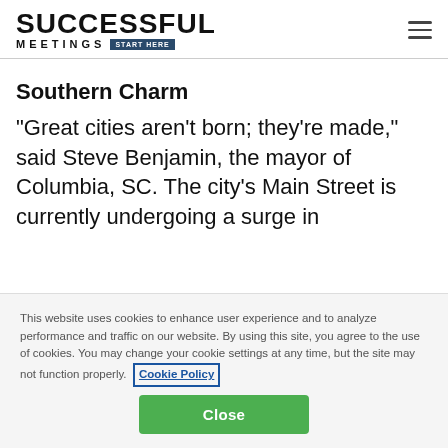[Figure (logo): Successful Meetings logo with 'START HERE' badge]
Southern Charm
"Great cities aren't born; they're made," said Steve Benjamin, the mayor of Columbia, SC. The city's Main Street is currently undergoing a surge in
This website uses cookies to enhance user experience and to analyze performance and traffic on our website. By using this site, you agree to the use of cookies. You may change your cookie settings at any time, but the site may not function properly. Cookie Policy
Close